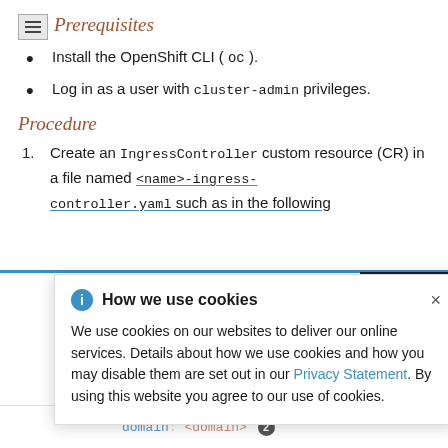Prerequisites
Install the OpenShift CLI ( oc ).
Log in as a user with cluster-admin privileges.
Procedure
Create an IngressController custom resource (CR) in a file named <name>-ingress-controller.yaml, such as in the following
[Figure (screenshot): Cookie consent modal overlay reading 'How we use cookies' with info icon and close button. Body text: 'We use cookies on our websites to deliver our online services. Details about how we use cookies and how you may disable them are set out in our Privacy Statement. By using this website you agree to our use of cookies.']
o/v1
perator
domain: <domain> 2